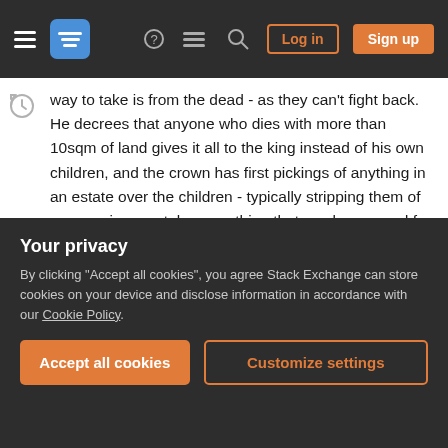Stack Exchange navigation bar with hamburger menu, logo, help icon, chat icon, search icon, Log in and Sign up buttons
way to take is from the dead - as they can't fight back. He decrees that anyone who dies with more than 10sqm of land gives it all to the king instead of his own children, and the crown has first pickings of anything in an estate over the children - typically stripping them of any precious metals or anything that can be pawned for cash.
Children of nobility end up worse off than peasant children, as the king seizes everything they inherit. They're left homeless and hungry. When the crown sees dead nobility and their heirs in a nice house it
Your privacy
By clicking "Accept all cookies", you agree Stack Exchange can store cookies on your device and disclose information in accordance with our Cookie Policy.
death, ensuring that their children at least get a roof